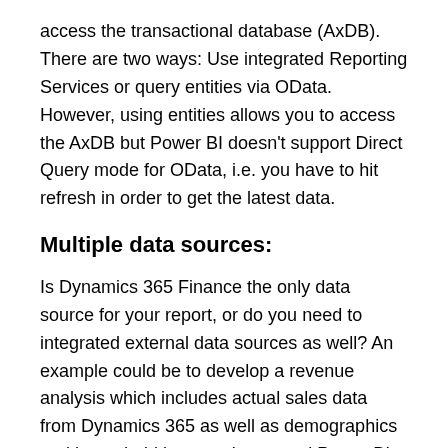access the transactional database (AxDB). There are two ways: Use integrated Reporting Services or query entities via OData. However, using entities allows you to access the AxDB but Power BI doesn't support Direct Query mode for OData, i.e. you have to hit refresh in order to get the latest data.
Multiple data sources:
Is Dynamics 365 Finance the only data source for your report, or do you need to integrated external data sources as well? An example could be to develop a revenue analysis which includes actual sales data from Dynamics 365 as well as demographics and household income. Integrated Power BI dashboards in Dynamics 365 use direct query to access the AxDB and cannot integrate